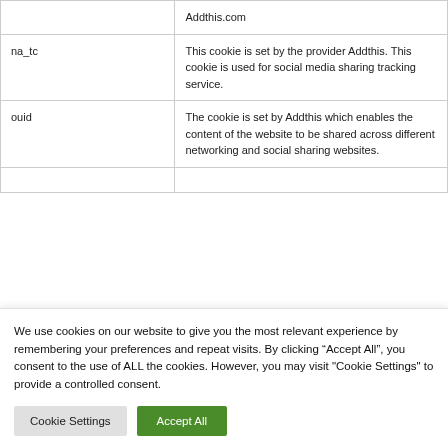| Cookie | Description |
| --- | --- |
|  | Addthis.com |
| na_tc | This cookie is set by the provider Addthis. This cookie is used for social media sharing tracking service. |
| ouid | The cookie is set by Addthis which enables the content of the website to be shared across different networking and social sharing websites. |
We use cookies on our website to give you the most relevant experience by remembering your preferences and repeat visits. By clicking “Accept All”, you consent to the use of ALL the cookies. However, you may visit "Cookie Settings" to provide a controlled consent.